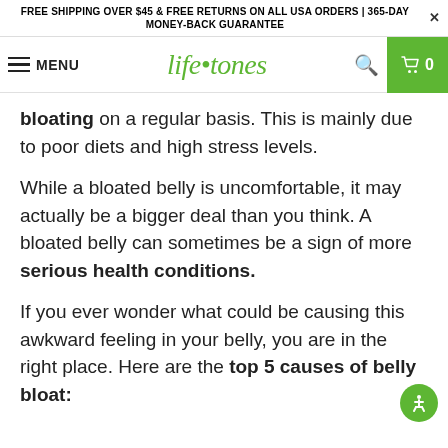FREE SHIPPING OVER $45 & FREE RETURNS ON ALL USA ORDERS | 365-DAY MONEY-BACK GUARANTEE
MENU lifetones 0
bloating on a regular basis. This is mainly due to poor diets and high stress levels.
While a bloated belly is uncomfortable, it may actually be a bigger deal than you think. A bloated belly can sometimes be a sign of more serious health conditions.
If you ever wonder what could be causing this awkward feeling in your belly, you are in the right place. Here are the top 5 causes of belly bloat: